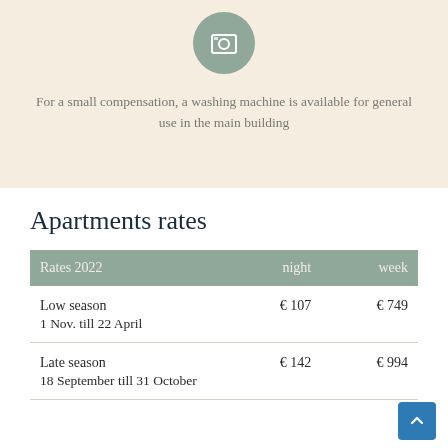[Figure (illustration): Circular icon with washing machine symbol on a sage green background]
For a small compensation, a washing machine is available for general use in the main building
Apartments rates
| Rates 2022 | night | week |
| --- | --- | --- |
| Low season
1 Nov. till 22 April | € 107 | € 749 |
| Late season
18 September till 31 October | € 142 | € 994 |